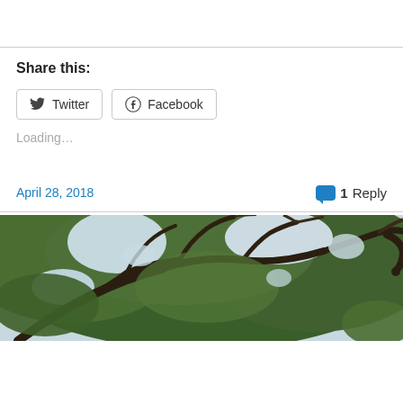Share this:
Twitter
Facebook
Loading...
April 28, 2018
1 Reply
[Figure (photo): Photograph of tree canopy with spreading branches and green leaves against a light sky, viewed from below looking upward.]